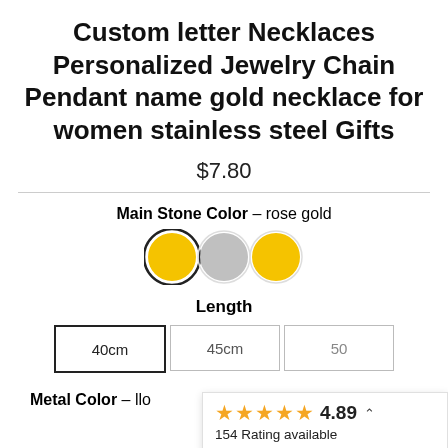Custom letter Necklaces Personalized Jewelry Chain Pendant name gold necklace for women stainless steel Gifts
$7.80
Main Stone Color – rose gold
[Figure (other): Three color swatches: gold (selected, with bold border), silver/gray, gold]
Length
40cm  45cm  50
Metal Color – llo
★★★★★ 4.89  154 Rating available